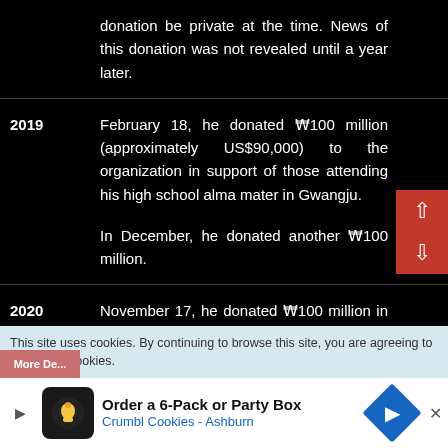| Year | Event |
| --- | --- |
|  | donation be private at the time. News of this donation was not revealed until a year later. |
| 2019 | February 18, he donated ₩100 million (approximately US$90,000) to the organization in support of those attending his high school alma mater in Gwangju. |
|  | In December, he donated another ₩100 million. |
| 2020 | November 17, he donated ₩100 million in support of children experiencing economic difficulties amid the COVID-19 pandemic. |
This site uses cookies. By continuing to browse this site, you are agreeing to our use of cookies.
Order a 6-Pack or Party Box Crumbl Cookies - Ashburn